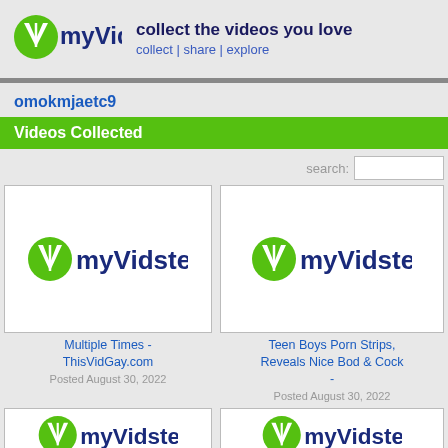[Figure (logo): myVidster logo - green circular icon with white V, text 'myVidster' in dark blue]
collect the videos you love
collect | share | explore
omokmjaetc9
Videos Collected
search:
[Figure (screenshot): myVidster logo placeholder thumbnail for video: Multiple Times - ThisVidGay.com]
Multiple Times -
ThisVidGay.com
Posted August 30, 2022
[Figure (screenshot): myVidster logo placeholder thumbnail for video: Teen Boys Porn Strips, Reveals Nice Bod & Cock -]
Teen Boys Porn Strips,
Reveals Nice Bod & Cock
-
Posted August 30, 2022
[Figure (screenshot): myVidster logo placeholder thumbnail, partial view (bottom of page)]
[Figure (screenshot): myVidster logo placeholder thumbnail, partial view (bottom of page)]